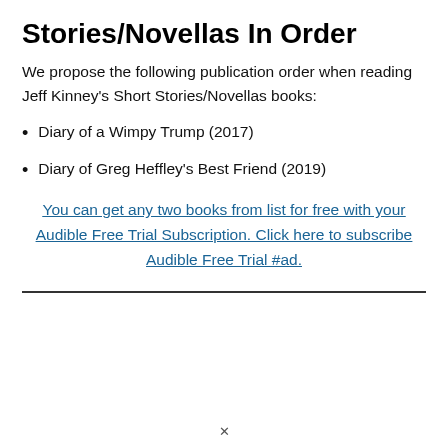Stories/Novellas In Order
We propose the following publication order when reading Jeff Kinney's Short Stories/Novellas books:
Diary of a Wimpy Trump (2017)
Diary of Greg Heffley's Best Friend (2019)
You can get any two books from list for free with your Audible Free Trial Subscription. Click here to subscribe Audible Free Trial #ad.